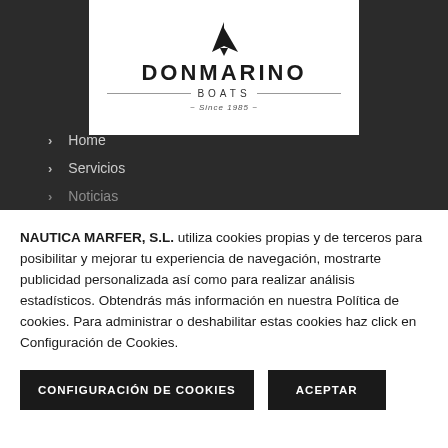[Figure (logo): DONMARINO Boats logo — sailing boat icon above the text DONMARINO in bold caps, then 'Boats' with horizontal rules, then '~ Since 1985 ~']
Home
Servicios
Noticias
NAUTICA MARFER, S.L. utiliza cookies propias y de terceros para posibilitar y mejorar tu experiencia de navegación, mostrarte publicidad personalizada así como para realizar análisis estadísticos. Obtendrás más información en nuestra Política de cookies. Para administrar o deshabilitar estas cookies haz click en Configuración de Cookies.
CONFIGURACIÓN DE COOKIES | ACEPTAR